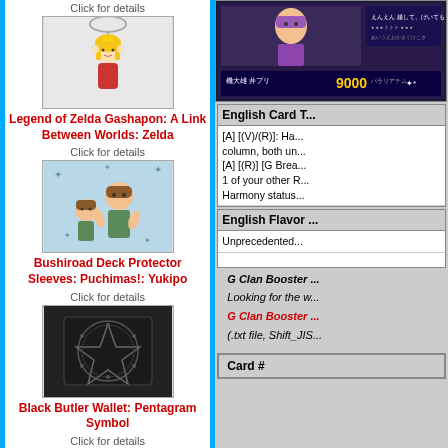Click for details
[Figure (photo): Legend of Zelda Gashapon keychain figure of Zelda on a chain]
Legend of Zelda Gashapon: A Link Between Worlds: Zelda
Click for details
[Figure (photo): Bushiroad Deck Protector Sleeves card sleeve with anime characters Yukipo]
Bushiroad Deck Protector Sleeves: Puchimas!: Yukipo
Click for details
[Figure (photo): Black Butler Wallet with Pentagram Symbol]
Black Butler Wallet: Pentagram Symbol
Click for details
[Figure (photo): Japanese trading card with anime character and 9000 power stat]
| English Card T... |
| --- |
| [A] [(V)/(R)]: Ha... column, both un... [A] [(R)] [G Brea... 1 of your other R... Harmony status... |
| English Flavor ... |
| --- |
| Unprecedented... |
G Clan Booster ...
Looking for the w...
G Clan Booster ... (.txt file, Shift_JIS...)
| Card # |
| --- |